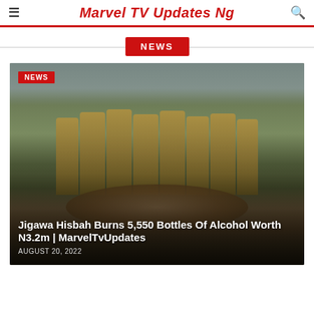Marvel TV Updates Ng
NEWS
[Figure (photo): Group of uniformed Hisbah officers holding up bottles of alcohol, with a large pile of confiscated bottles in front of them on an outdoor field.]
Jigawa Hisbah Burns 5,550 Bottles Of Alcohol Worth N3.2m | MarvelTvUpdates
AUGUST 20, 2022